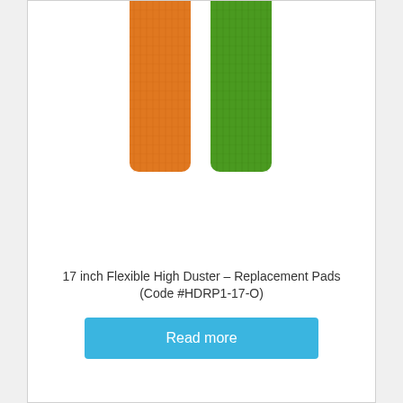[Figure (photo): Two vertical flexible duster replacement pads side by side — one orange and one green — with a textured fabric surface, shown against a white background.]
17 inch Flexible High Duster – Replacement Pads (Code #HDRP1-17-O)
Read more